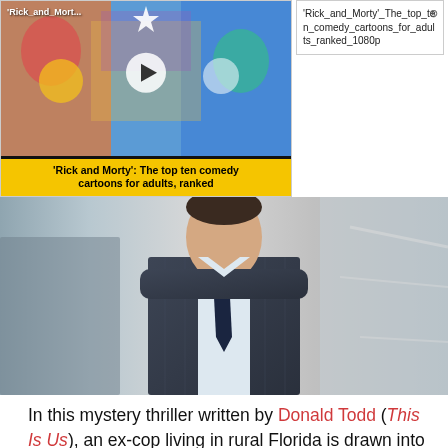[Figure (screenshot): Video thumbnail popup for 'Rick and Morty': The top ten comedy cartoons for adults, ranked, with play button overlay and yellow title bar]
'Rick_and_Morty'_The_top_ten_comedy_cartoons_for_adults_ranked_1080p
[Figure (photo): Man in dark pinstripe suit and blue tie, walking, looking at camera]
In this mystery thriller written by Donald Todd (This Is Us), an ex-cop living in rural Florida is drawn into an investigation involving a sunken treasure. Starring Toby Kebbell (Dead Man's Shoes), Jim Belushi (Little Shop of Horrors), and